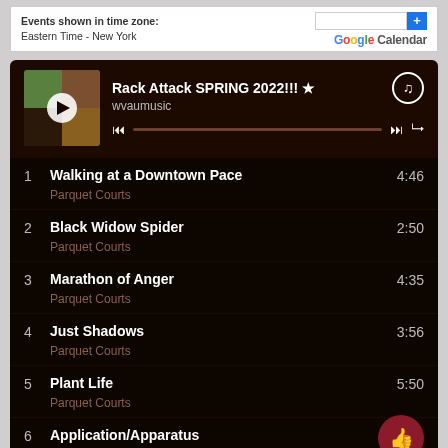Events shown in time zone:
Eastern Time - New York
[Figure (screenshot): Google Calendar button with search box and plus icon]
Rack Attack SPRING 2022!!! ★
wvaumusic
[Figure (screenshot): Spotify playlist player with album art, play button, and progress bar]
1  Walking at a Downtown Pace  4:46
   Parquet Courts
2  Black Widow Spider  2:50
   Parquet Courts
3  Marathon of Anger  4:35
   Parquet Courts
4  Just Shadows  3:56
   Parquet Courts
5  Plant Life  5:50
   Parquet Courts
6  Application/Apparatus
   Parquet Courts